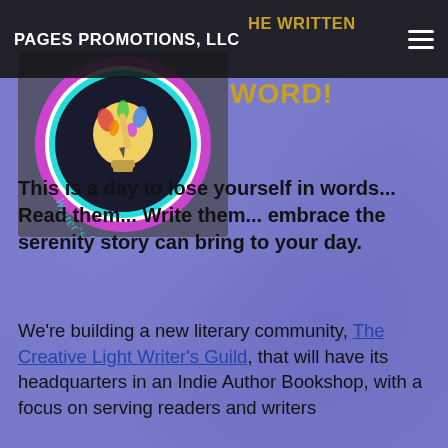PAGES PROMOTIONS, LLC
[Figure (logo): Circular logo for Creative Light Writer's Guild featuring a colorful lightbulb with paint splash and the text 'Writer's Guild' in script, surrounded by a pink/magenta ring on a dark background]
WORD!
This is a day to lose yourself in words... Read them... Write them... embrace the serenity story can bring to your day.
We're building a new literary community, The Creative Light Writer's Guild, that will have its headquarters in an Indie Author Bookshop, with a focus on serving readers and writers